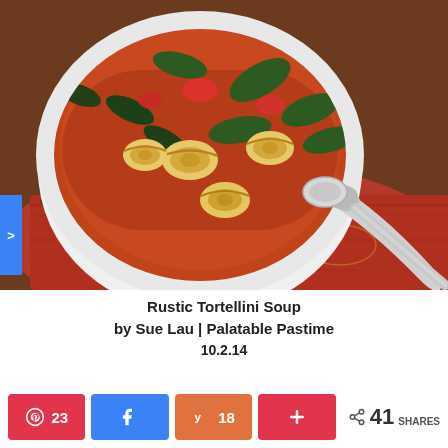[Figure (photo): A white bowl of rustic tortellini soup with spinach and tomatoes in a red broth, placed on a red patterned napkin with a silver spoon beside it.]
Rustic Tortellini Soup
by Sue Lau | Palatable Pastime
10.2.14
[Figure (infographic): Social share bar with Pinterest (23), Facebook share, Yummly (18), and a plus/save button, plus total shares: 41 SHARES]